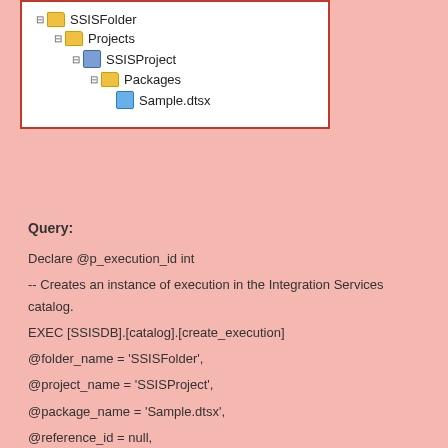[Figure (screenshot): File tree screenshot showing SSISFolder > Projects > SSISProject > Packages > Sample.dtsx]
Query:
Declare @p_execution_id int

-- Creates an instance of execution in the Integration Services catalog.

EXEC [SSISDB].[catalog].[create_execution]

@folder_name = 'SSISFolder',

@project_name = 'SSISProject',

@package_name = 'Sample.dtsx',

@reference_id = null,

@use32bitruntime = 0,